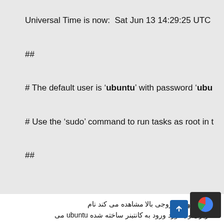Universal Time is now:  Sat Jun 13 14:29:25 UTC
##
# The default user is 'ubuntu' with password 'ubuntu'
# Use the 'sudo' command to run tasks as root in t
##
که در انتهای خروجی بالا مشاهده می کند نام کاربری و یسورد ورود به کانتینر ساخته شده ubuntu می